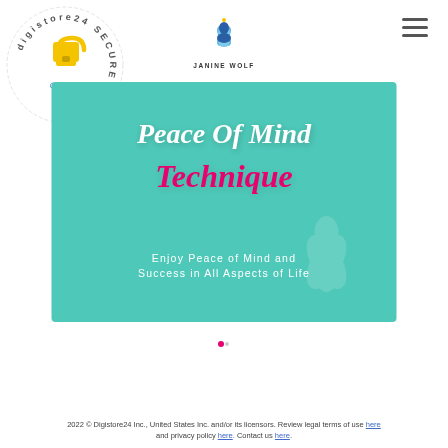[Figure (logo): Digistore24 Secure Order badge with padlock icon and circular text]
[Figure (logo): Janine Wolf lotus/buddha logo with text JANINE WOLF below]
[Figure (illustration): Teal/turquoise banner image reading 'Peace Of Mind Technique – Enjoy Peace of Mind and Success in All Aspects of Life']
2022 © Digistore24 Inc., United States Inc. and/or its licensors. Review legal terms of use here and privacy policy here. Contact us here.